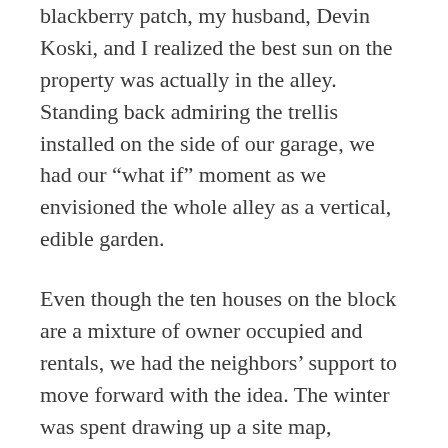blackberry patch, my husband, Devin Koski, and I realized the best sun on the property was actually in the alley. Standing back admiring the trellis installed on the side of our garage, we had our “what if” moment as we envisioned the whole alley as a vertical, edible garden.
Even though the ten houses on the block are a mixture of owner occupied and rentals, we had the neighbors’ support to move forward with the idea. The winter was spent drawing up a site map, researching ACHD’s pavement program and devising a general plan of action. Our approach was to dream big and with that came a lofty budget that we didn’t feel right asking our neighbors to foot.
Luckily a lot of people along the way believed in the vision. The FINE Grant from NENA was the first donation we received and that set the ball in motion. FarWest Nursery and D&B Supply